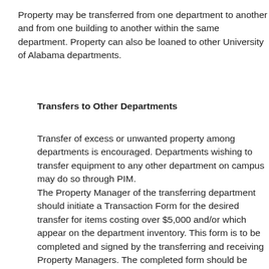Property may be transferred from one department to another and from one building to another within the same department. Property can also be loaned to other University of Alabama departments.
Transfers to Other Departments
Transfer of excess or unwanted property among departments is encouraged. Departments wishing to transfer equipment to any other department on campus may do so through PIM. The Property Manager of the transferring department should initiate a Transaction Form for the desired transfer for items costing over $5,000 and/or which appear on the department inventory. This form is to be completed and signed by the transferring and receiving Property Managers. The completed form should be forwarded to PIM. Upon receipt of the necessary paperwork, PIM will update the fixed asset records to